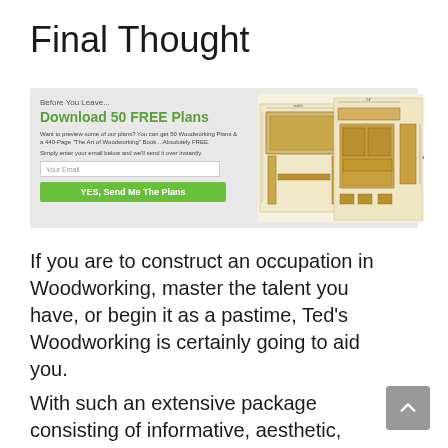Final Thought
[Figure (infographic): Promotional banner with 'Before You Leave... Download 50 FREE Plans' headline in green, description text, email input field, 'YES, Send Me The Plans' green button, and woodworking blueprint diagrams on the right side.]
If you are to construct an occupation in Woodworking, master the talent you have, or begin it as a pastime, Ted’s Woodworking is certainly going to aid you.
With such an extensive package consisting of informative, aesthetic, video, as well as textual woodworking plans, you